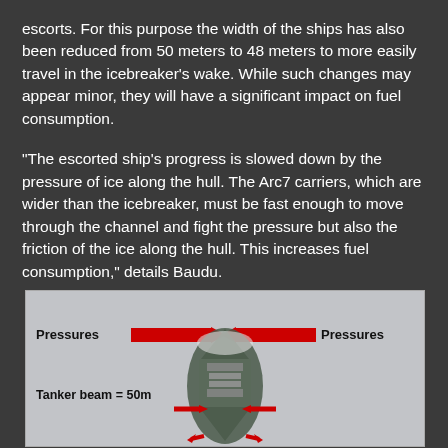escorts. For this purpose the width of the ships has also been reduced from 50 meters to 48 meters to more easily travel in the icebreaker's wake. While such changes may appear minor, they will have a significant impact on fuel consumption.
“The escorted ship’s progress is slowed down by the pressure of ice along the hull. The Arc7 carriers, which are wider than the icebreaker, must be fast enough to move through the channel and fight the pressure but also the friction of the ice along the hull. This increases fuel consumption,” details Baudu.
[Figure (engineering-diagram): Diagram of a tanker ship showing ice pressure forces. Two red arrows point inward from left and right labeled 'Pressures'. The ship is shown from above with label 'Tanker beam = 50m' and red arrows indicating the beam width at the hull.]